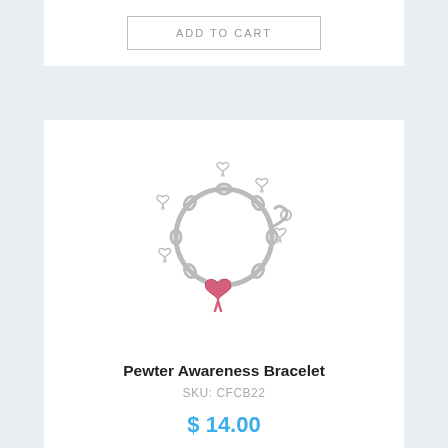ADD TO CART
[Figure (photo): Silver pewter awareness bracelet with pink ribbon charm and awareness ribbon charms around a chain link bracelet]
Pewter Awareness Bracelet
SKU: CFCB22
$ 14.00
ADD TO CART